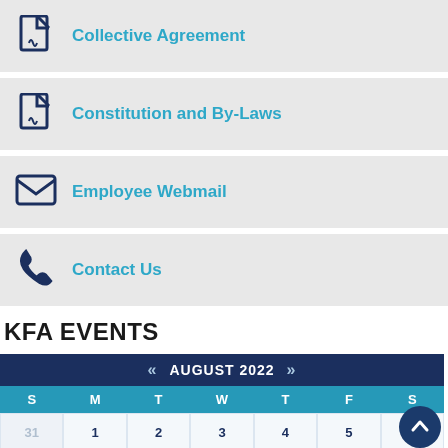Collective Agreement
Constitution and By-Laws
Employee Webmail
Contact Us
KFA EVENTS
[Figure (other): Calendar showing August 2022 with navigation arrows, day headers S M T W T F S, and dates including week of 31,1,2,3,4,5 and week of 7,8,9,10,11,12,13]